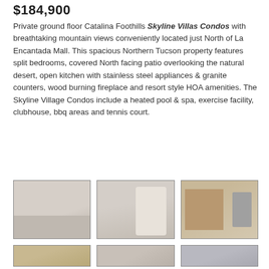$184,900
Private ground floor Catalina Foothills Skyline Villas Condos with breathtaking mountain views conveniently located just North of La Encantada Mall. This spacious Northern Tucson property features split bedrooms, covered North facing patio overlooking the natural desert, open kitchen with stainless steel appliances & granite counters, wood burning fireplace and resort style HOA amenities. The Skyline Village Condos include a heated pool & spa, exercise facility, clubhouse, bbq areas and tennis court.
[Figure (photo): Interior photo of bedroom with window]
[Figure (photo): Interior photo of bathroom with bathtub]
[Figure (photo): Interior photo of kitchen with wood cabinets and stainless refrigerator]
[Figure (photo): Interior photo, partial view bottom row first]
[Figure (photo): Interior photo, partial view bottom row second]
[Figure (photo): Interior photo, partial view bottom row third]